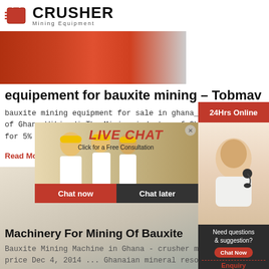[Figure (logo): Crusher Mining Equipment logo with red shopping bag icon and bold CRUSHER text]
[Figure (photo): Red trucks/mining transport vehicles photo]
equipement for bauxite mining – Tobmav
bauxite mining equipment for sale in ghana_Mining industry of Ghana WikipediaThe Mining industry of Gha... for 5% of th...
Read More
[Figure (photo): Large mining machinery/crusher equipment image with LIMING watermark]
[Figure (photo): Live Chat overlay with workers in hard hats, LIVE CHAT text, Click for a Free Consultation, Chat now and Chat later buttons]
[Figure (photo): 24Hrs Online banner and customer service representative with headset]
Machinery For Mining Of Bauxite
Bauxite Mining Machine in Ghana - crusher mac... price Dec 4, 2014 ... Ghanaian mineral resource... diamond, timber and manganese .. heavy machi... mining in the western areas of present
[Figure (infographic): Need questions & suggestion box with Chat Now button, Enquiry label, limingjlmofen@sina.com email]